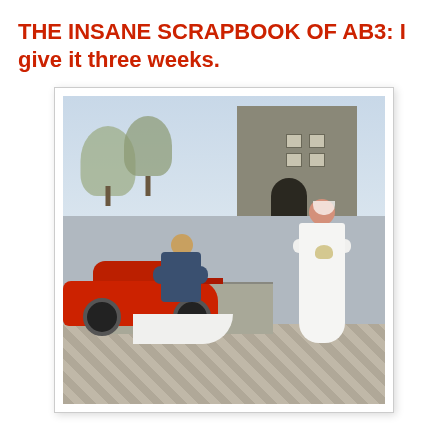THE INSANE SCRAPBOOK OF AB3: I give it three weeks.
[Figure (photo): Wedding photo showing a bride in a white dress with arms crossed, standing beside a red sports car, while a bald groom in a blue suit crouches down holding the train of her dress; set in front of a stone building with bare trees.]